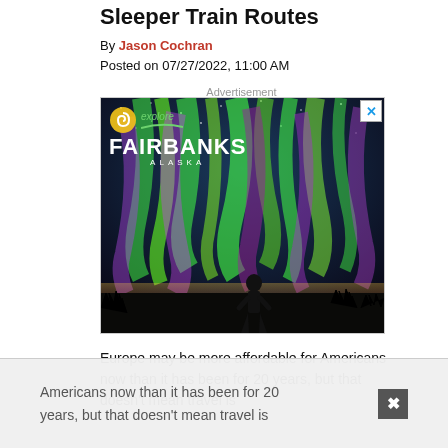Sleeper Train Routes
By Jason Cochran
Posted on 07/27/2022, 11:00 AM
Advertisement
[Figure (photo): Advertisement banner for Explore Fairbanks Alaska featuring aurora borealis (northern lights) in green and purple over a silhouetted person standing in a landscape.]
Europe may be more affordable for Americans now than it has been for 20 years, but that doesn't mean travel is